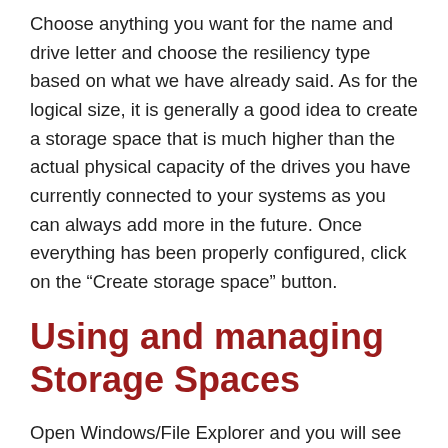Choose anything you want for the name and drive letter and choose the resiliency type based on what we have already said. As for the logical size, it is generally a good idea to create a storage space that is much higher than the actual physical capacity of the drives you have currently connected to your systems as you can always add more in the future. Once everything has been properly configured, click on the “Create storage space” button.
Using and managing Storage Spaces
Open Windows/File Explorer and you will see your newly created storage pool appear like a perfectly normal drive. Windows makes almost no distinction between virtual and physical drives so you can use it in any way you want. You can even enable BitLocker and encrypt the drive in case